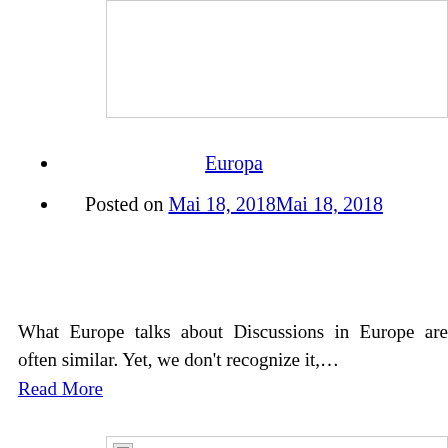[Figure (other): Top image box with border, partially visible at top of page]
Europa
Posted on Mai 18, 2018Mai 18, 2018
What Europe talks about Discussions in Europe are often similar. Yet, we don't recognize it,…
Read More
[Figure (photo): Bottom image box with broken image icon, partially cut off at bottom of page]